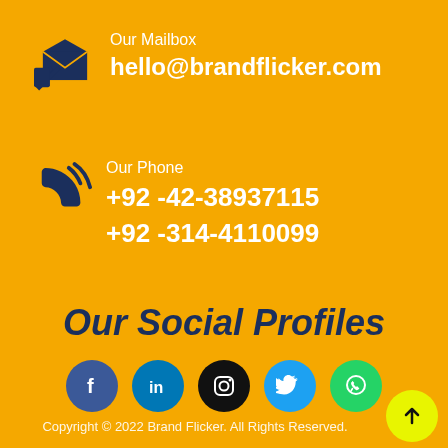Our Mailbox
hello@brandflicker.com
Our Phone
+92 -42-38937115
+92 -314-4110099
Our Social Profiles
[Figure (infographic): Five social media icons in circles: Facebook (blue), LinkedIn (blue), Instagram (black), Twitter (light blue), WhatsApp (green)]
Copyright © 2022 Brand Flicker. All Rights Reserved.